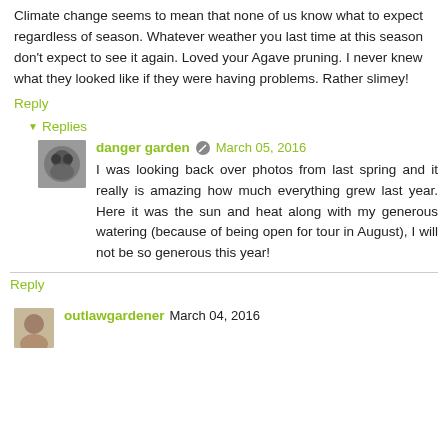Climate change seems to mean that none of us know what to expect regardless of season. Whatever weather you last time at this season don't expect to see it again. Loved your Agave pruning. I never knew what they looked like if they were having problems. Rather slimey!
Reply
Replies
danger garden  March 05, 2016
I was looking back over photos from last spring and it really is amazing how much everything grew last year. Here it was the sun and heat along with my generous watering (because of being open for tour in August), I will not be so generous this year!
Reply
outlawgardener  March 04, 2016